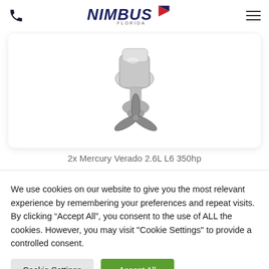Nimbus Florida — navigation header with phone icon and hamburger menu
[Figure (photo): Mercury Verado outboard engine with stainless steel propeller on white card background]
2x Mercury Verado 2.6L L6 350hp
We use cookies on our website to give you the most relevant experience by remembering your preferences and repeat visits. By clicking “Accept All”, you consent to the use of ALL the cookies. However, you may visit "Cookie Settings" to provide a controlled consent.
Cookie Settings | Accept All